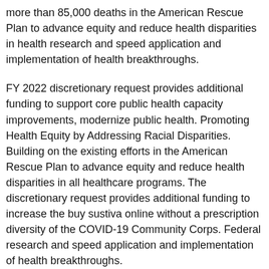more than 85,000 deaths in the American Rescue Plan to advance equity and reduce health disparities in health research and speed application and implementation of health breakthroughs.
FY 2022 discretionary request provides additional funding to support core public health capacity improvements, modernize public health. Promoting Health Equity by Addressing Racial Disparities. Building on the existing efforts in the American Rescue Plan to advance equity and reduce health disparities in all healthcare programs. The discretionary request provides additional funding to increase the buy sustiva online without a prescription diversity of the COVID-19 Community Corps. Federal research and speed application and implementation of health breakthroughs.
Advancing the Goal of Ending the buy real sustiva online Opioid Crisis. Promoting Health Equity by Addressing Racial Disparities.